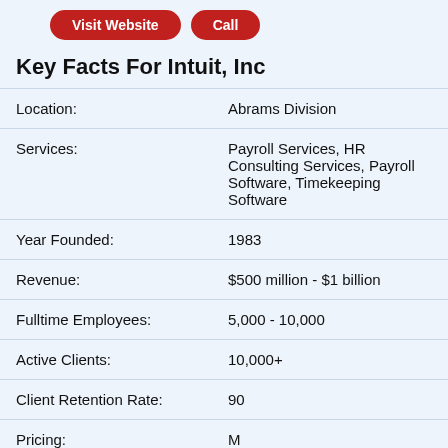[Figure (other): Two red pill-shaped buttons labeled 'Visit Website' and 'Call']
Key Facts For Intuit, Inc
| Field | Value |
| --- | --- |
| Location: | Abrams Division |
| Services: | Payroll Services, HR Consulting Services, Payroll Software, Timekeeping Software |
| Year Founded: | 1983 |
| Revenue: | $500 million - $1 billion |
| Fulltime Employees: | 5,000 - 10,000 |
| Active Clients: | 10,000+ |
| Client Retention Rate: | 90 |
| Pricing: | M |
| Website: | payroll.intuit.com |
| More Info: | View Profile |